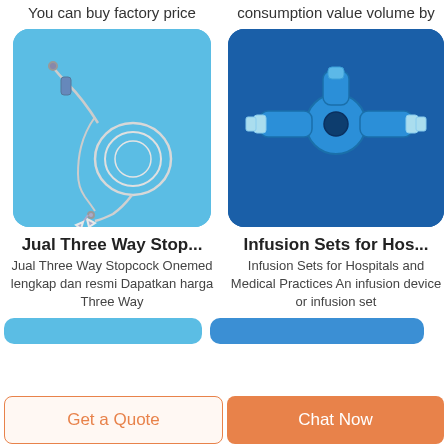You can buy factory price
consumption value volume by
[Figure (photo): IV infusion set with tubing and needle on a light blue background]
[Figure (photo): Three-way stopcock valve in blue plastic on dark blue background]
Jual Three Way Stop...
Infusion Sets for Hos...
Jual Three Way Stopcock Onemed lengkap dan resmi Dapatkan harga Three Way
Infusion Sets for Hospitals and Medical Practices An infusion device or infusion set
Get a Quote
Chat Now